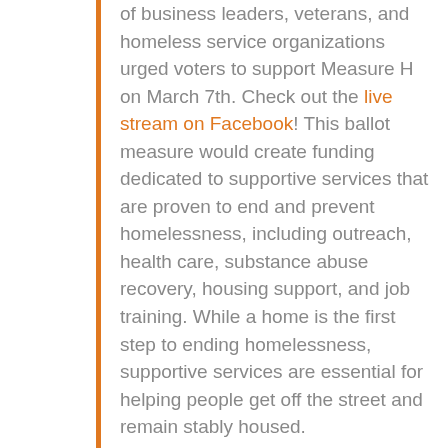of business leaders, veterans, and homeless service organizations urged voters to support Measure H on March 7th. Check out the live stream on Facebook! This ballot measure would create funding dedicated to supportive services that are proven to end and prevent homelessness, including outreach, health care, substance abuse recovery, housing support, and job training. While a home is the first step to ending homelessness, supportive services are essential for helping people get off the street and remain stably housed.
The rally was the first public event to take place at the Trust's new Crest Apartments, which transformed an open lot into 63 homes for veterans and disabled individuals who have experienced homelessness. It is located in the San Fernando Valley, where